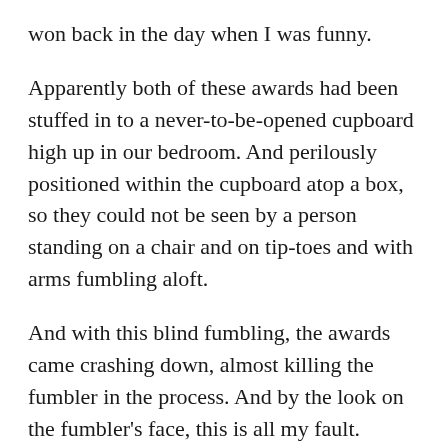won back in the day when I was funny.
Apparently both of these awards had been stuffed in to a never-to-be-opened cupboard high up in our bedroom. And perilously positioned within the cupboard atop a box, so they could not be seen by a person standing on a chair and on tip-toes and with arms fumbling aloft.
And with this blind fumbling, the awards came crashing down, almost killing the fumbler in the process. And by the look on the fumbler's face, this is all my fault. Presumably for once being funny and then hiding away the evidence.
And in this very moment, I see it and finally, I relax because a blog has landed in my lap. I want to smile but I know better not to. Experienced husband that I am, now is not the time to share my good news.